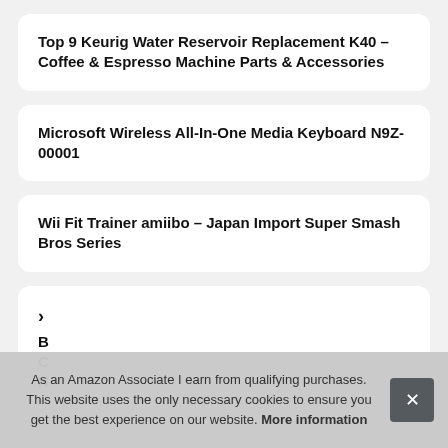Top 9 Keurig Water Reservoir Replacement K40 – Coffee & Espresso Machine Parts & Accessories
Microsoft Wireless All-In-One Media Keyboard N9Z-00001
Wii Fit Trainer amiibo – Japan Import Super Smash Bros Series
As an Amazon Associate I earn from qualifying purchases. This website uses the only necessary cookies to ensure you get the best experience on our website. More information